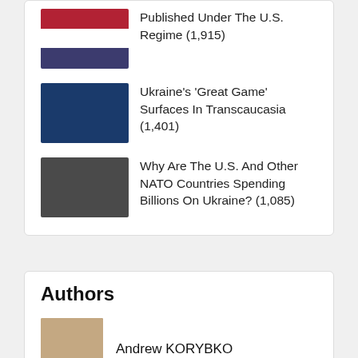Published Under The U.S. Regime (1,915)
Ukraine's 'Great Game' Surfaces In Transcaucasia (1,401)
Why Are The U.S. And Other NATO Countries Spending Billions On Ukraine? (1,085)
Authors
Andrew KORYBKO
Binoy KAMPMARK